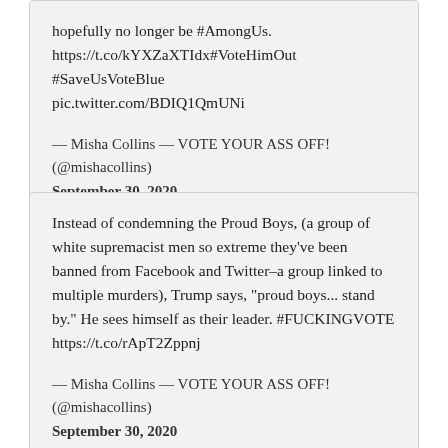hopefully no longer be #AmongUs. https://t.co/kYXZaXTIdx#VoteHimOut #SaveUsVoteBlue pic.twitter.com/BDIQ1QmUNi
— Misha Collins — VOTE YOUR ASS OFF! (@mishacollins) September 30, 2020
Instead of condemning the Proud Boys, (a group of white supremacist men so extreme they've been banned from Facebook and Twitter–a group linked to multiple murders), Trump says, "proud boys... stand by." He sees himself as their leader. #FUCKINGVOTE https://t.co/rApT2Zppnj
— Misha Collins — VOTE YOUR ASS OFF! (@mishacollins) September 30, 2020